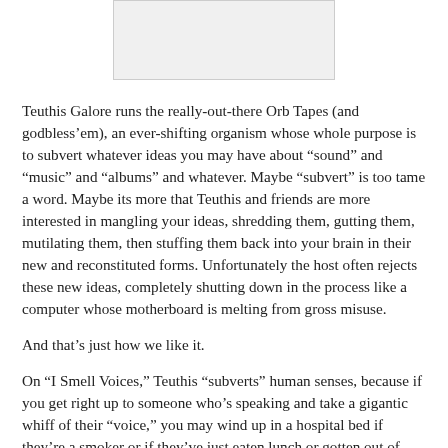[Figure (other): Rectangular image placeholder at top center of page]
Teuthis Galore runs the really-out-there Orb Tapes (and godbless’em), an ever-shifting organism whose whole purpose is to subvert whatever ideas you may have about “sound” and “music” and “albums” and whatever. Maybe “subvert” is too tame a word. Maybe its more that Teuthis and friends are more interested in mangling your ideas, shredding them, gutting them, mutilating them, then stuffing them back into your brain in their new and reconstituted forms. Unfortunately the host often rejects these new ideas, completely shutting down in the process like a computer whose motherboard is melting from gross misuse.
And that’s just how we like it.
On “I Smell Voices,” Teuthis “subverts” human senses, because if you get right up to someone who’s speaking and take a gigantic whiff of their “voice,” you may wind up in a hospital bed if they’re a smoker or if they’ve just eaten lunch or gotten out of bed, or if they never brush their teeth (godforbid). He also subverts the idea of noise as a static imposition, a sinister slab of sonic onslaught overcoming and